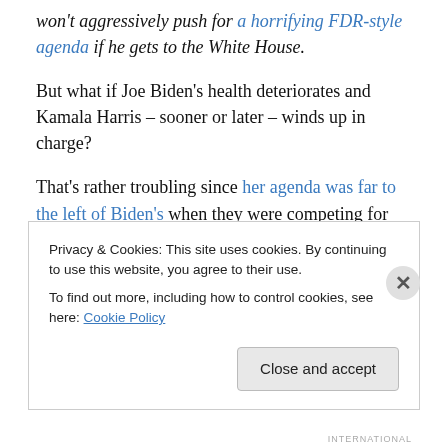won't aggressively push for a horrifying FDR-style agenda if he gets to the White House.
But what if Joe Biden's health deteriorates and Kamala Harris – sooner or later – winds up in charge?
That's rather troubling since her agenda was far to the left of Biden's when they were competing for the Democratic nomination.
And it doesn't appear that being Biden's choice for Vice President has led her to moderate her views. Consider this
Privacy & Cookies: This site uses cookies. By continuing to use this website, you agree to their use.
To find out more, including how to control cookies, see here: Cookie Policy